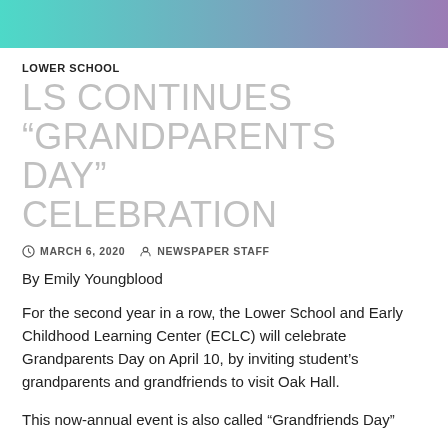[Figure (other): Decorative gradient banner header in teal to purple]
LOWER SCHOOL
LS CONTINUES “GRANDPARENTS DAY” CELEBRATION
○ MARCH 6, 2020   • NEWSPAPER STAFF
By Emily Youngblood
For the second year in a row, the Lower School and Early Childhood Learning Center (ECLC) will celebrate Grandparents Day on April 10, by inviting student’s grandparents and grandfriends to visit Oak Hall.
This now-annual event is also called “Grandfriends Day”